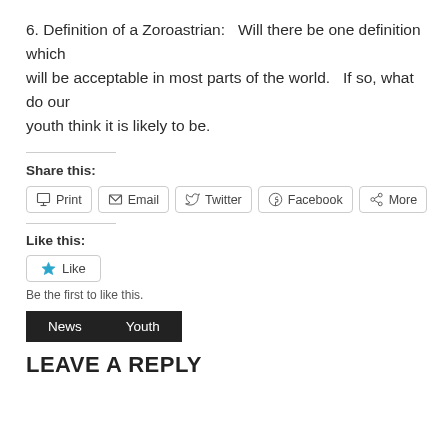6. Definition of a Zoroastrian:   Will there be one definition which will be acceptable in most parts of the world.   If so, what do our youth think it is likely to be.
Share this:
Print | Email | Twitter | Facebook | More
Like this:
Like
Be the first to like this.
News  Youth
LEAVE A REPLY